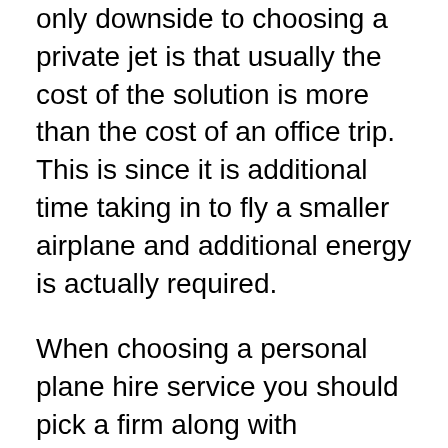only downside to choosing a private jet is that usually the cost of the solution is more than the cost of an office trip. This is since it is additional time taking in to fly a smaller airplane and additional energy is actually required.
When choosing a personal plane hire service you should pick a firm along with expertise and knowledge of the market. It is actually a good idea to allow our company know the number of opportunities they have actually done this solution. Essentially, you would certainly like a company that offers a choice of aircraft. It will be more effective to let us recognize if they have aircraft in a certain assortment, in order that our team can easily decide on the one very most suitable for our